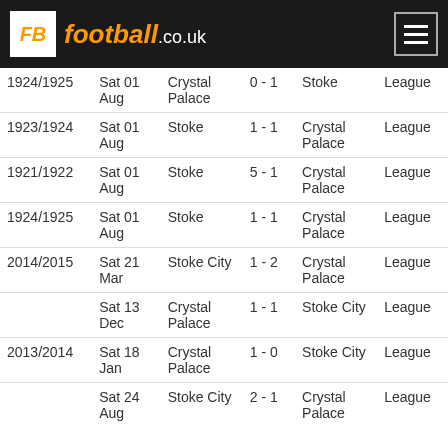football.co.uk
| Season | Date | Home | Score | Away | Competition |
| --- | --- | --- | --- | --- | --- |
| 1924/1925 | Sat 01 Aug | Crystal Palace | 0 - 1 | Stoke | League |
| 1923/1924 | Sat 01 Aug | Stoke | 1 - 1 | Crystal Palace | League |
| 1921/1922 | Sat 01 Aug | Stoke | 5 - 1 | Crystal Palace | League |
| 1924/1925 | Sat 01 Aug | Stoke | 1 - 1 | Crystal Palace | League |
| 2014/2015 | Sat 21 Mar | Stoke City | 1 - 2 | Crystal Palace | League |
|  | Sat 13 Dec | Crystal Palace | 1 - 1 | Stoke City | League |
| 2013/2014 | Sat 18 Jan | Crystal Palace | 1 - 0 | Stoke City | League |
|  | Sat 24 Aug | Stoke City | 2 - 1 | Crystal Palace | League |